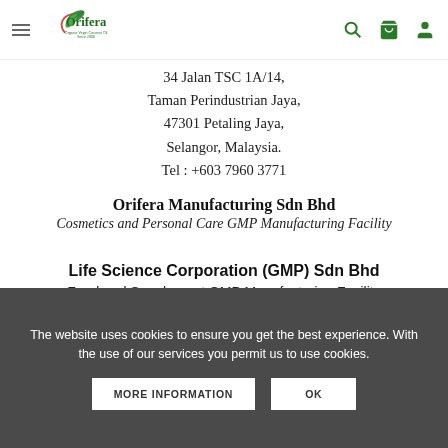Orifera — navigation header with logo, hamburger menu, search, cart, and account icons
34 Jalan TSC 1A/14, Taman Perindustrian Jaya, 47301 Petaling Jaya, Selangor, Malaysia. Tel : +603 7960 3771
Orifera Manufacturing Sdn Bhd
Cosmetics and Personal Care GMP Manufacturing Facility
Life Science Corporation (GMP) Sdn Bhd
Food and Supplement GMP Manufacturing Facility
The website uses cookies to ensure you get the best experience. With the use of our services you permit us to use cookies.